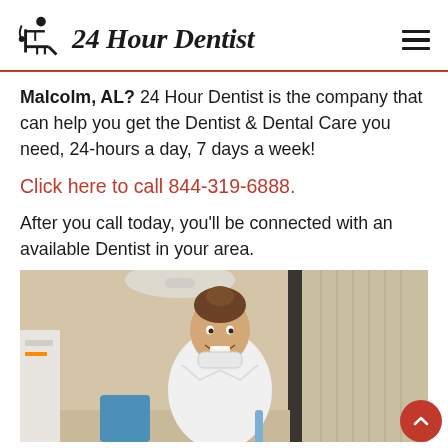24 Hour Dentist
Malcolm, AL? 24 Hour Dentist is the company that can help you get the Dentist & Dental Care you need, 24-hours a day, 7 days a week!
Click here to call 844-319-6888.
After you call today, you’ll be connected with an available Dentist in your area.
[Figure (photo): A smiling female dentist in a white coat with a pulled-down mask, standing in a dental office with equipment visible in the background]